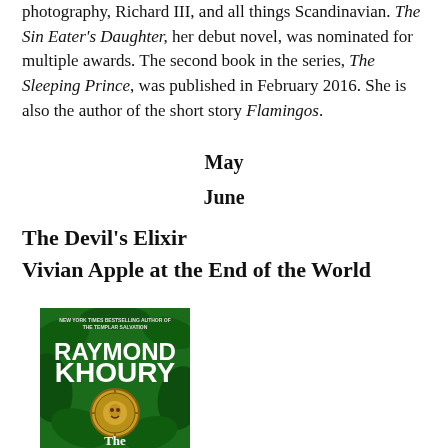photography, Richard III, and all things Scandinavian. The Sin Eater's Daughter, her debut novel, was nominated for multiple awards. The second book in the series, The Sleeping Prince, was published in February 2016. She is also the author of the short story Flamingos.
May
June
The Devil's Elixir
Vivian Apple at the End of the World
[Figure (photo): Book cover for a Raymond Khoury novel. Features the text 'NEW YORK TIMES BESTSELLING AUTHOR OF THE TEMPLAR SALVATION', 'RAYMOND KHOURY' in large white letters, tropical green foliage background, an Aztec/Mayan circular medallion in the center, and 'The' at the bottom in white.]